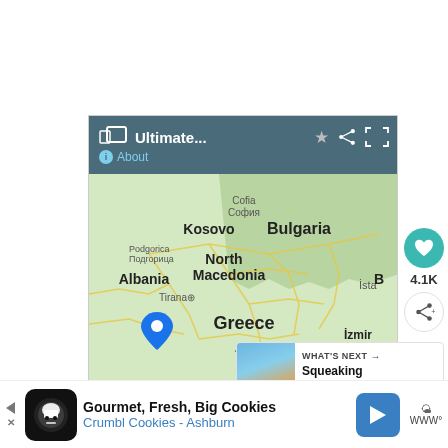[Figure (screenshot): Mobile app screenshot showing a Google Maps view titled 'Ultimate...' with a map of southeastern Europe including Kosovo, Bulgaria, North Macedonia, Albania, Greece with multiple blue location pins. App header bar in teal/dark blue with share and expand icons. Right sidebar shows heart icon with 4.1K likes, share button, and 'WHAT'S NEXT' panel showing 'Squeaking Through Crete'. Bottom shows 'Top' signature/logo.]
[Figure (screenshot): Advertisement banner at bottom: Crumbl Cookies - Gourmet, Fresh, Big Cookies - Crumbl Cookies - Ashburn]